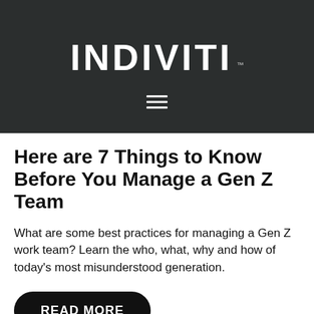[Figure (logo): INDIVITI logo in large bold white text on dark background, with TM mark, and a hamburger menu icon below]
Here are 7 Things to Know Before You Manage a Gen Z Team
What are some best practices for managing a Gen Z work team? Learn the who, what, why and how of today's most misunderstood generation.
READ MORE